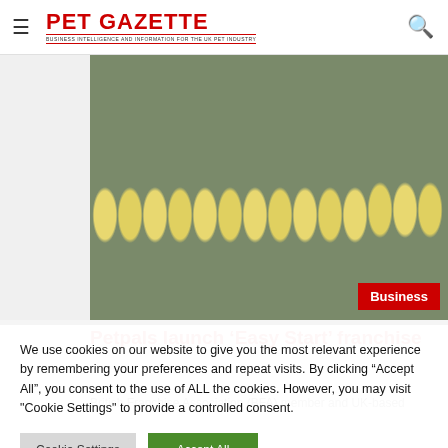PET GAZETTE — BUSINESS INTELLIGENCE AND INFORMATION FOR THE UK PET INDUSTRY
[Figure (photo): Group photo of Petpals franchise team wearing yellow branded t-shirts, standing outdoors. A red 'Business' badge is overlaid in the bottom right corner.]
Petpals launch ‘Easy Start’ franchise
British Franchise Association (BFA) member and UK-based
We use cookies on our website to give you the most relevant experience by remembering your preferences and repeat visits. By clicking “Accept All”, you consent to the use of ALL the cookies. However, you may visit "Cookie Settings" to provide a controlled consent.